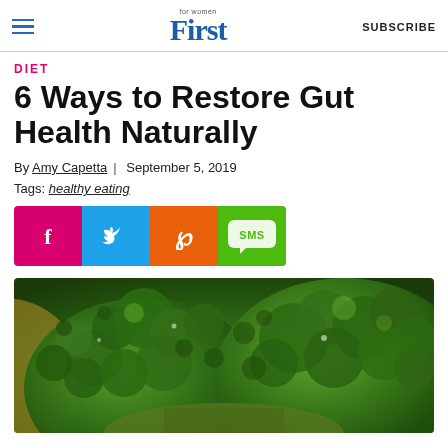First for women | SUBSCRIBE
DIET
6 Ways to Restore Gut Health Naturally
By Amy Capetta | September 5, 2019
Tags: healthy eating
[Figure (infographic): Social share buttons: Facebook (pink/magenta), Twitter (blue), Pinterest (orange), SMS (green)]
[Figure (photo): Close-up photo of fresh green broccoli florets in a bowl]